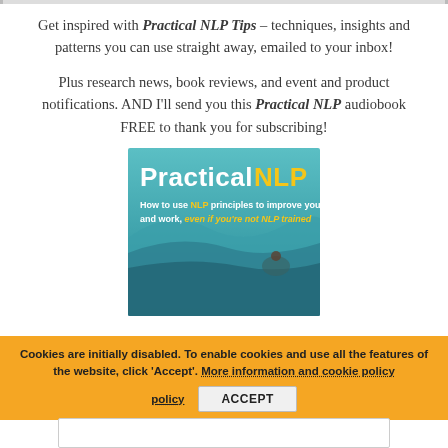Get inspired with Practical NLP Tips – techniques, insights and patterns you can use straight away, emailed to your inbox!
Plus research news, book reviews, and event and product notifications. AND I'll send you this Practical NLP audiobook FREE to thank you for subscribing!
[Figure (illustration): Book cover for 'Practical NLP: How to use NLP principles to improve your life and work, even if you're not NLP trained' showing title text over a teal wave/surfing background]
Cookies are initially disabled. To enable cookies and use all the features of the website, click 'Accept'. More information and cookie policy ACCEPT